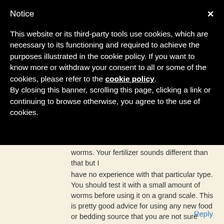Notice
This website or its third-party tools use cookies, which are necessary to its functioning and required to achieve the purposes illustrated in the cookie policy. If you want to know more or withdraw your consent to all or some of the cookies, please refer to the cookie policy.
By closing this banner, scrolling this page, clicking a link or continuing to browse otherwise, you agree to the use of cookies.
worms. Your fertilizer sounds different than that but I have no experience with that particular type. You should test it with a small amount of worms before using it on a grand scale. This is pretty good advice for using any new food or bedding source that you are not sure about. Always test. Rick
Reply